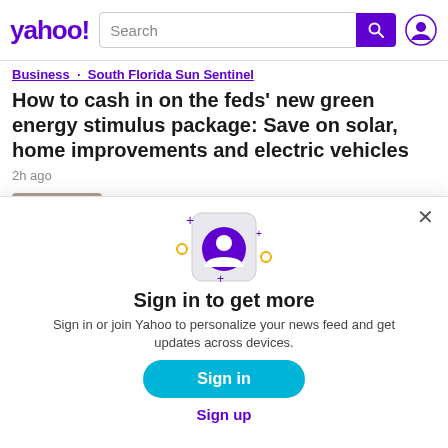yahoo! Search
Business · South Florida Sun Sentinel
How to cash in on the feds' new green energy stimulus package: Save on solar, home improvements and electric vehicles
2h ago
U.S. · NextShark
[Figure (illustration): Yahoo sign-in modal dialog with animated phone/user icon, sparkles, sign in and sign up prompts]
Sign in to get more
Sign in or join Yahoo to personalize your news feed and get updates across devices.
Sign in
Sign up